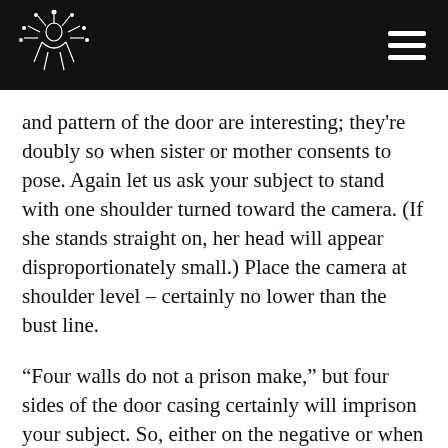[Logo and navigation bar]
and pattern of the door are interesting; they're doubly so when sister or mother consents to pose. Again let us ask your subject to stand with one shoulder turned toward the camera. (If she stands straight on, her head will appear disproportionately small.) Place the camera at shoulder level – certainly no lower than the bust line.
“Four walls do not a prison make,” but four sides of the door casing certainly will imprison your subject. So, either on the negative or when enlarging, crop so that the